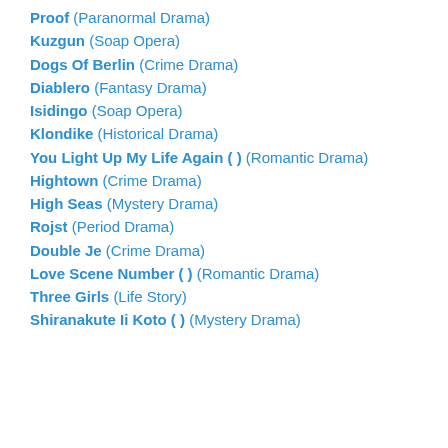Proof (Paranormal Drama)
Kuzgun (Soap Opera)
Dogs Of Berlin (Crime Drama)
Diablero (Fantasy Drama)
Isidingo (Soap Opera)
Klondike (Historical Drama)
You Light Up My Life Again (  ) (Romantic Drama)
Hightown (Crime Drama)
High Seas (Mystery Drama)
Rojst (Period Drama)
Double Je (Crime Drama)
Love Scene Number (  ) (Romantic Drama)
Three Girls (Life Story)
Shiranakute Ii Koto (   ) (Mystery Drama)